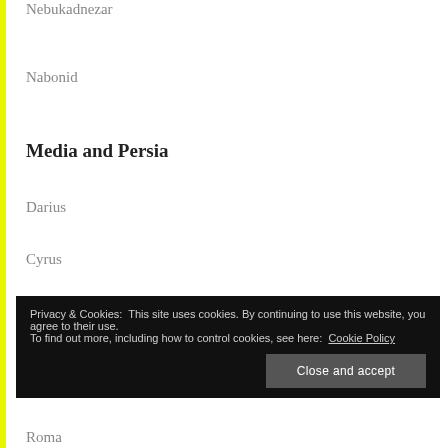Nebukadnezar
Nabonid
Media and Persia
Darius
Cyrus
Artaxerxes
Greece and Ellena
Privacy & Cookies: This site uses cookies. By continuing to use this website, you agree to their use. To find out more, including how to control cookies, see here: Cookie Policy
Roma